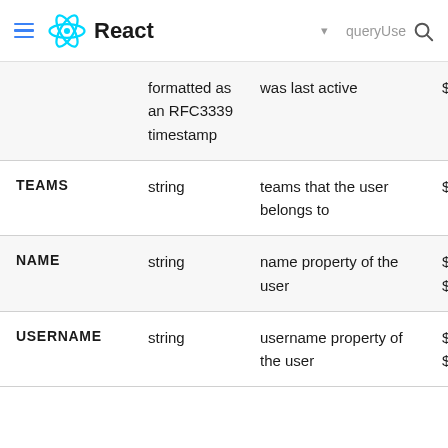React — queryUser search
|  | Type | Description | Operators |
| --- | --- | --- | --- |
|  | formatted as an RFC3339 timestamp | was last active | $in, $nin |
| TEAMS | string | teams that the user belongs to | $eq, $con |
| NAME | string | name property of the user | $eq, $autocom |
| USERNAME | string | username property of the user | $eq, $autocom |